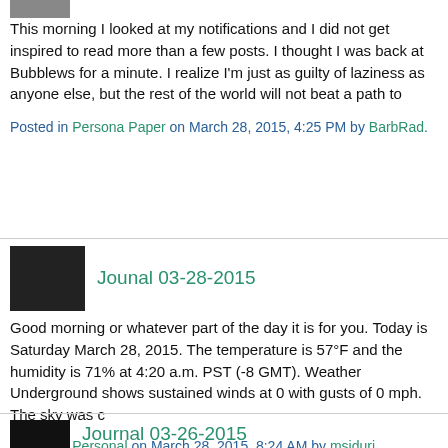[Figure (photo): Small thumbnail image at top left, partially visible]
This morning I looked at my notifications and I did not get inspired to read more than a few posts. I thought I was back at Bubblews for a minute. I realize I'm just as guilty of laziness as anyone else, but the rest of the world will not beat a path to
Posted in Persona Paper on March 28, 2015, 4:25 PM by BarbRad.
[Figure (photo): Small black and white thumbnail image of an open book or notebook]
Jounal 03-28-2015
Good morning or whatever part of the day it is for you. Today is Saturday March 28, 2015. The temperature is 57°F and the humidity is 71% at 4:20 a.m. PST (-8 GMT).  Weather Underground shows sustained winds at 0 with gusts of 0 mph. The sky was c
Posted in Personal on March 28, 2015, 8:24 AM by msiduri.
[Figure (photo): Small dark thumbnail image at bottom]
Journal 03-26-2015